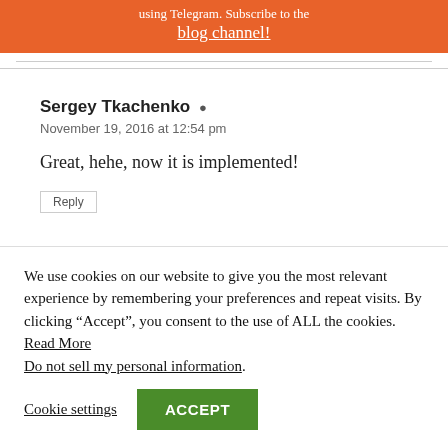blog channel!
Sergey Tkachenko
November 19, 2016 at 12:54 pm
Great, hehe, now it is implemented!
We use cookies on our website to give you the most relevant experience by remembering your preferences and repeat visits. By clicking “Accept”, you consent to the use of ALL the cookies. Read More Do not sell my personal information.
Cookie settings ACCEPT